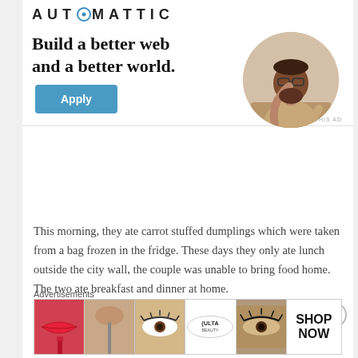[Figure (logo): Automattic logo text in bold uppercase with a circular element in the letter O]
Build a better web and a better world.
[Figure (illustration): A circular photo of a young Black man with glasses sitting at a desk, resting his chin on his hand thoughtfully]
Apply
REPORT THIS AD
This morning, they ate carrot stuffed dumplings which were taken from a bag frozen in the fridge. These days they only ate lunch outside the city wall, the couple was unable to bring food home. The two ate breakfast and dinner at home.
Advertisements
[Figure (screenshot): Bottom advertisement strip showing Ulta Beauty cosmetics advertisement with images of lips, makeup brushes, eyes, Ulta logo, and a Shop Now panel]